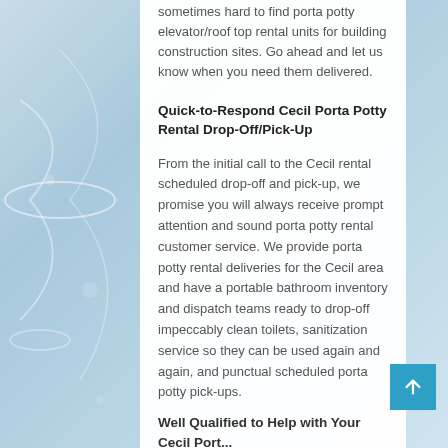sometimes hard to find porta potty elevator/roof top rental units for building construction sites. Go ahead and let us know when you need them delivered.
Quick-to-Respond Cecil Porta Potty Rental Drop-Off/Pick-Up
From the initial call to the Cecil rental scheduled drop-off and pick-up, we promise you will always receive prompt attention and sound porta potty rental customer service. We provide porta potty rental deliveries for the Cecil area and have a portable bathroom inventory and dispatch teams ready to drop-off impeccably clean toilets, sanitization service so they can be used again and again, and punctual scheduled porta potty pick-ups.
Well Qualified to Help with Your Cecil Porta